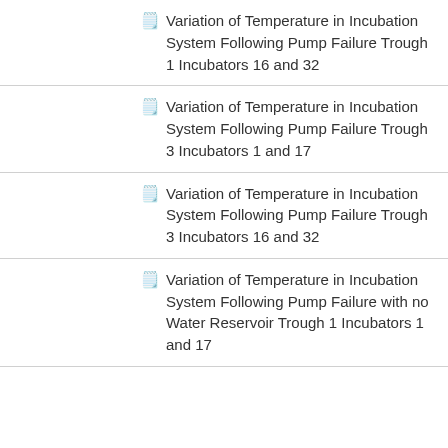Variation of Temperature in Incubation System Following Pump Failure Trough 1 Incubators 16 and 32
Variation of Temperature in Incubation System Following Pump Failure Trough 3 Incubators 1 and 17
Variation of Temperature in Incubation System Following Pump Failure Trough 3 Incubators 16 and 32
Variation of Temperature in Incubation System Following Pump Failure with no Water Reservoir Trough 1 Incubators 1 and 17